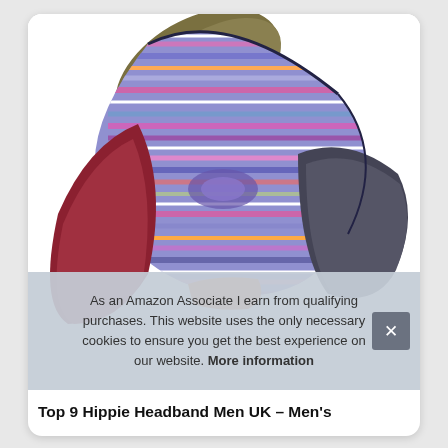[Figure (photo): Multiple colorful hippie-style headbands stacked together, featuring stripes in purple, red, olive green, gray, and orange patterns, photographed on a white background.]
As an Amazon Associate I earn from qualifying purchases. This website uses the only necessary cookies to ensure you get the best experience on our website. More information
Top 9 Hippie Headband Men UK – Men's